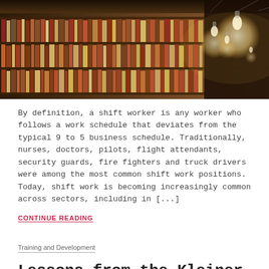[Figure (photo): Library shelves filled with books, illuminated by hanging Edison bulb lights, warm toned photograph]
By definition, a shift worker is any worker who follows a work schedule that deviates from the typical 9 to 5 business schedule. Traditionally, nurses, doctors, pilots, flight attendants, security guards, fire fighters and truck drivers were among the most common shift work positions. Today, shift work is becoming increasingly common across sectors, including in [...]
CONTINUE READING
Training and Development
Lessons from the Kleiner Perkins Caufield & Byers Lawsuit